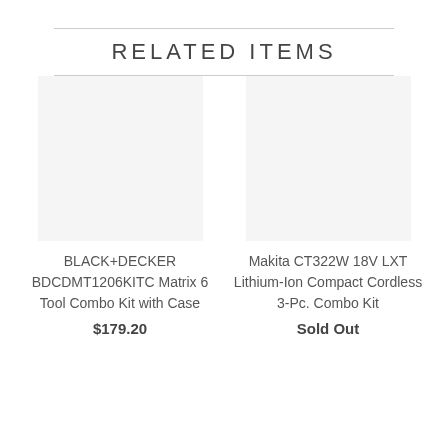RELATED ITEMS
BLACK+DECKER BDCDMT1206KITC Matrix 6 Tool Combo Kit with Case
$179.20
Makita CT322W 18V LXT Lithium-Ion Compact Cordless 3-Pc. Combo Kit
Sold Out